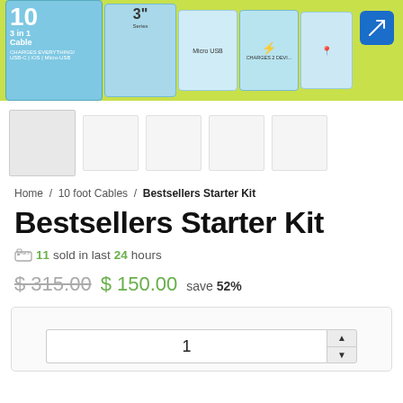[Figure (photo): Product banner showing multiple cable product boxes (10-in-1 Cable, 3-inch cable, Micro-USB, etc.) on a lime green background, with a blue expand button in the top right corner.]
[Figure (photo): Row of product thumbnail images below the banner. First thumbnail is visible as a light gray box; remaining thumbnails are lighter/empty.]
Home / 10 foot Cables / Bestsellers Starter Kit
Bestsellers Starter Kit
11 sold in last 24 hours
$ 315.00  $ 150.00  save 52%
1